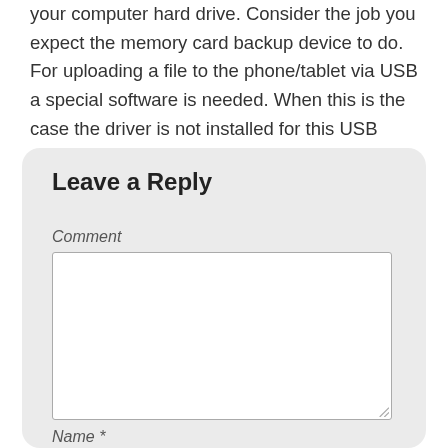your computer hard drive. Consider the job you expect the memory card backup device to do. For uploading a file to the phone/tablet via USB a special software is needed. When this is the case the driver is not installed for this USB port. Make sure that the phone is on hook before you power it on.
Leave a Reply
Comment
Name *